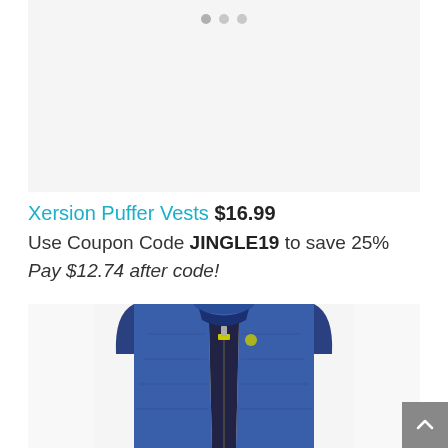[Figure (other): Image carousel placeholder area with three gray navigation dots at the top center]
Xersion Puffer Vests $16.99
Use Coupon Code JINGLE19 to save 25%
Pay $12.74 after code!
[Figure (photo): Blue Xersion puffer vest with stand collar and zip front, partially visible showing upper body section]